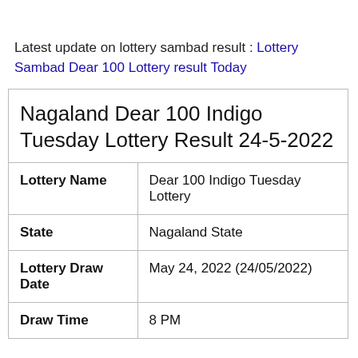Latest update on lottery sambad result : Lottery Sambad Dear 100 Lottery result Today
| Nagaland Dear 100 Indigo Tuesday Lottery Result 24-5-2022 |
| Lottery Name | Dear 100 Indigo Tuesday Lottery |
| State | Nagaland State |
| Lottery Draw Date | May 24, 2022 (24/05/2022) |
| Draw Time | 8 PM |